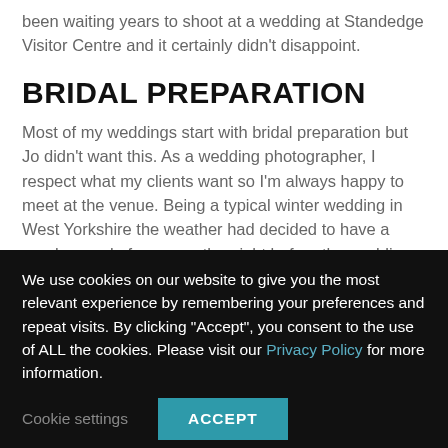been waiting years to shoot at a wedding at Standedge Visitor Centre and it certainly didn't disappoint.
BRIDAL PREPARATION
Most of my weddings start with bridal preparation but Jo didn't want this. As a wedding photographer, I respect what my clients want so I'm always happy to meet at the venue. Being a typical winter wedding in West Yorkshire the weather had decided to have a good spread of snow on the night before the wedding which looked stunning. As I wasn't covering the bride preparation I made sure I arrived at the
We use cookies on our website to give you the most relevant experience by remembering your preferences and repeat visits. By clicking "Accept", you consent to the use of ALL the cookies. Please visit our Privacy Policy for more information.
Cookie settings
ACCEPT